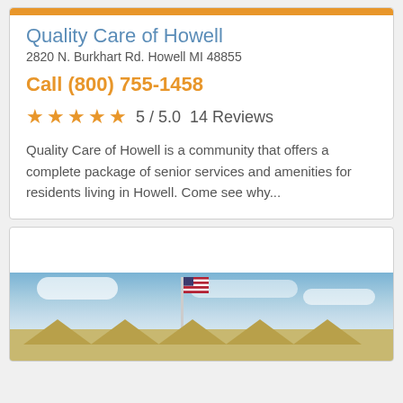Quality Care of Howell
2820 N. Burkhart Rd. Howell MI 48855
Call (800) 755-1458
5 / 5.0   14 Reviews
Quality Care of Howell is a community that offers a complete package of senior services and amenities for residents living in Howell. Come see why...
[Figure (photo): Exterior photo of a senior care community building with American flag on flagpole, multiple roof peaks, and blue sky with clouds]